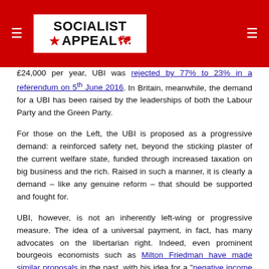[Figure (logo): Socialist Appeal logo with red banner header and hamburger menu icons on left and right]
£24,000 per year, UBI was rejected by 77% to 23% in a referendum on 5th June 2016. In Britain, meanwhile, the demand for a UBI has been raised by the leaderships of both the Labour Party and the Green Party.
For those on the Left, the UBI is proposed as a progressive demand: a reinforced safety net, beyond the sticking plaster of the current welfare state, funded through increased taxation on big business and the rich. Raised in such a manner, it is clearly a demand – like any genuine reform – that should be supported and fought for.
UBI, however, is not an inherently left-wing or progressive measure. The idea of a universal payment, in fact, has many advocates on the libertarian right. Indeed, even prominent bourgeois economists such as Milton Friedman have made similar proposals in the past, with his idea for a "negative income tax".
For these respectable ladies and gentlemen, the concept of a UBI has great appeal as an extremely streamlined version of – or, worse still, replacement for – the welfare state. In one fell swoop